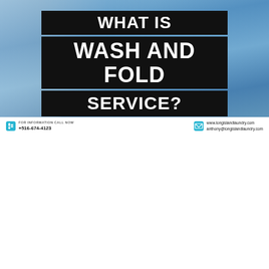[Figure (photo): Photo of a person handling/folding laundry with blue fabric visible, serving as background for the title text overlay]
WHAT IS WASH AND FOLD SERVICE?
FOR INFORMATION CALL NOW +516-674-4123
www.longislandlaundry.com anthony@longislandlaundry.com